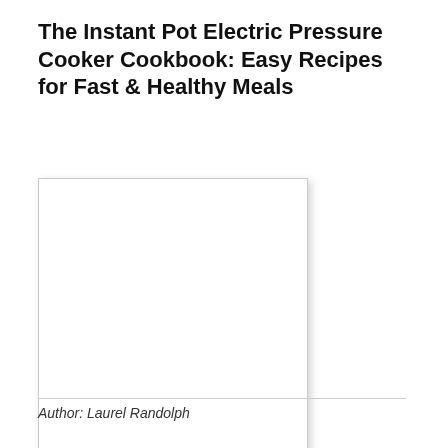The Instant Pot Electric Pressure Cooker Cookbook: Easy Recipes for Fast & Healthy Meals
[Figure (other): Book cover image — white/blank cover with light border and drop shadow]
Author: Laurel Randolph